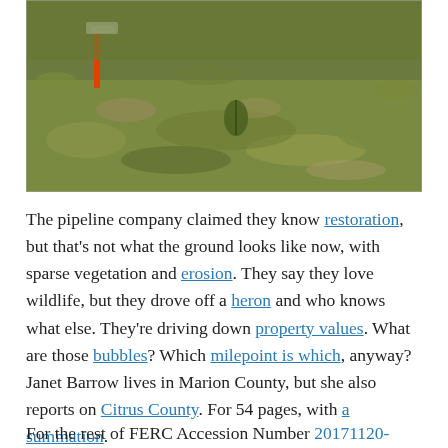[Figure (photo): Photograph of sparse grass/lawn ground with an orange and white survey stake or flag on the left side, showing sparse vegetation with some bare patches and brown-green patchy grass.]
The pipeline company claimed they know restoration, but that's not what the ground looks like now, with sparse vegetation and erosion. They say they love wildlife, but they drove off a heron and who knows what else. They're driving down property values. What are those bubbles? Which milepoint is which, anyway? Janet Barrow lives in Marion County, but she also reports on Citrus County. For 54 pages, with a summation.
For the rest of FERC Accession Number 20171120-5026